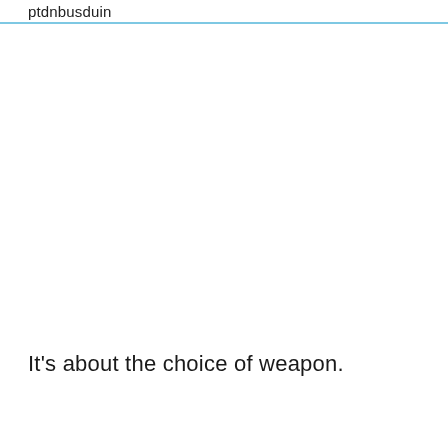ptdnbusduin
It's about the choice of weapon.